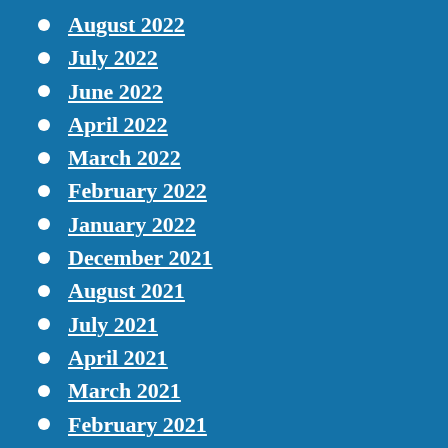August 2022
July 2022
June 2022
April 2022
March 2022
February 2022
January 2022
December 2021
August 2021
July 2021
April 2021
March 2021
February 2021
December 2020
October 2020
September 2020
July 2020